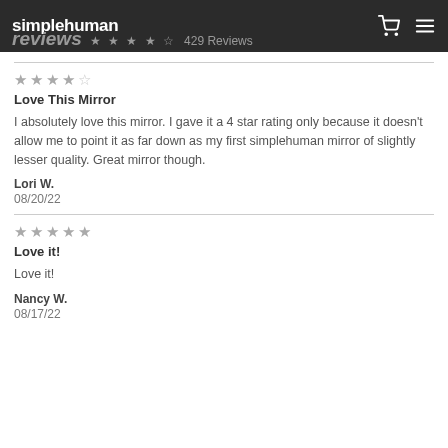simplehuman
reviews ★★★★☆ 429 Reviews
★★★★☆
Love This Mirror
I absolutely love this mirror. I gave it a 4 star rating only because it doesn't allow me to point it as far down as my first simplehuman mirror of slightly lesser quality. Great mirror though.
Lori W.
08/20/22
★★★★★
Love it!
Love it!
Nancy W.
08/17/22